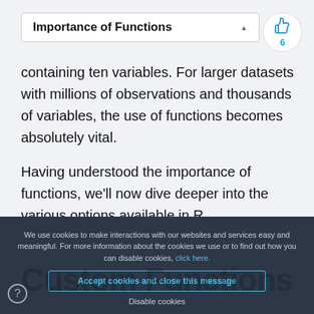Importance of Functions
containing ten variables. For larger datasets with millions of observations and thousands of variables, the use of functions becomes absolutely vital.
Having understood the importance of functions, we'll now dive deeper into the various options available in R.
We use cookies to make interactions with our websites and services easy and meaningful. For more information about the cookies we use or to find out how you can disable cookies, click here.
Accept cookies and close this message
Disable cookies
Custom Functions